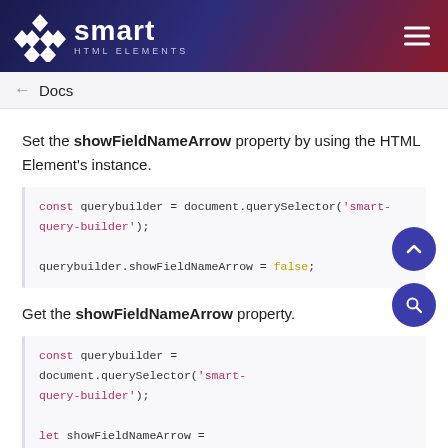smart HTML ELEMENTS
Docs
Set the showFieldNameArrow property by using the HTML Element's instance.
const querybuilder = document.querySelector('smart-query-builder');

querybuilder.showFieldNameArrow = false;
Get the showFieldNameArrow property.
const querybuilder = document.querySelector('smart-query-builder');

let showFieldNameArrow = querybuilder.showFieldNameArrow;